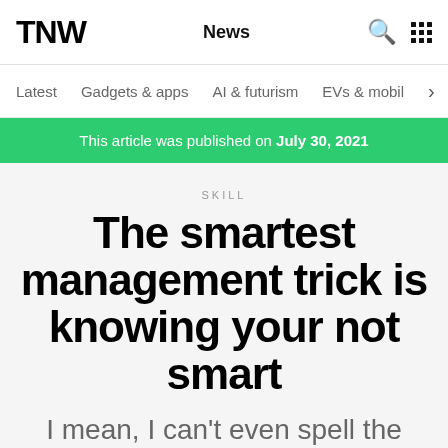TNW | News
Latest | Gadgets & apps | AI & futurism | EVs & mobil
This article was published on July 30, 2021
SKILL
The smartest management trick is knowing your not smart
I mean, I can't even spell the headline properly